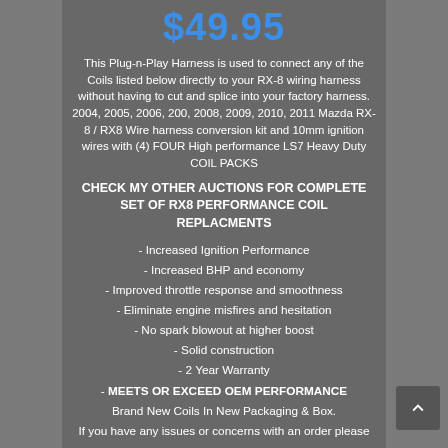$49.95
This Plug-n-Play Harness is used to connect any of the Coils listed below directly to your RX-8 wiring harness without having to cut and splice into your factory harness. 2004, 2005, 2006, 200, 2008, 2009, 2010, 2011 Mazda RX-8 / RX8 Wire harness conversion kit and 10mm ignition wires with (4) FOUR High performance LS7 Heavy Duty COIL PACKS
CHECK MY OTHER AUCTIONS FOR COMPLETE SET OF RX8 PERFORMANCE COIL REPLACMENTS
- Increased Ignition Performance
- Increased BHP and economy
- Improved throttle response and smoothness
- Eliminate engine misfires and hesitation
- No spark blowout at higher boost
- Solid construction
- 2 Year Warranty
- MEETS OR EXCEED OEM PERFORMANCE
Brand New Coils In New Packaging & Box.
If you have any issues or concerns with an order please